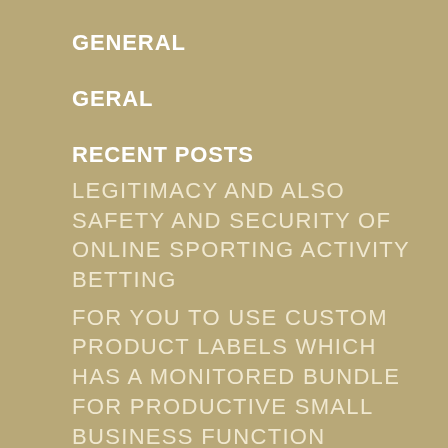GENERAL
GERAL
RECENT POSTS
LEGITIMACY AND ALSO SAFETY AND SECURITY OF ONLINE SPORTING ACTIVITY BETTING
FOR YOU TO USE CUSTOM PRODUCT LABELS WHICH HAS A MONITORED BUNDLE FOR PRODUCTIVE SMALL BUSINESS FUNCTION